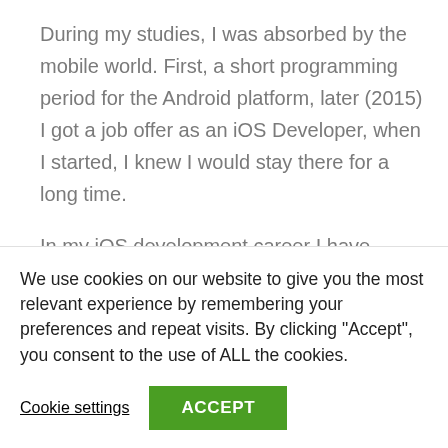During my studies, I was absorbed by the mobile world. First, a short programming period for the Android platform, later (2015) I got a job offer as an iOS Developer, when I started, I knew I would stay there for a long time.
In my iOS development career I have created an SDK to handle in-app payments (Apple Pay, Visa, Mastercard and so on), as well as an SDK to handle 3DSecure authorization, which has passed EMV and PCI certification.
We use cookies on our website to give you the most relevant experience by remembering your preferences and repeat visits. By clicking "Accept", you consent to the use of ALL the cookies.
Cookie settings
ACCEPT